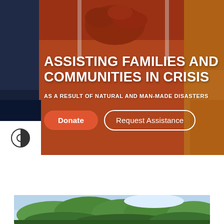[Figure (photo): Hero banner image showing people in colorful clothing (orange/red hoodie in center, dark clothing on left, yellow on right) with text overlay]
ASSISTING FAMILIES AND COMMUNITIES IN CRISIS
AS A RESULT OF NATURAL AND MAN-MADE DISASTERS
[Figure (screenshot): Contrast/accessibility toggle button (half-circle icon) on white background]
[Figure (photo): Bottom cropped photo showing green trees against a light sky]